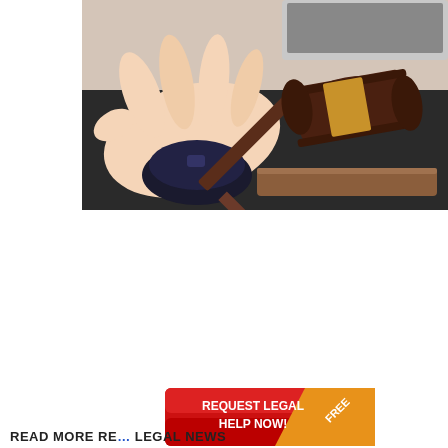[Figure (photo): Photo of a person's hand on a computer mouse next to a wooden judge's gavel with a gold band, on a dark surface. Legal/court themed image.]
[Figure (infographic): Red and orange button graphic with white bold text reading 'REQUEST LEGAL HELP NOW!' and a diagonal banner in the top-right corner reading 'FREE' in white on a gold/orange background.]
READ MORE RE... LEGAL NEWS